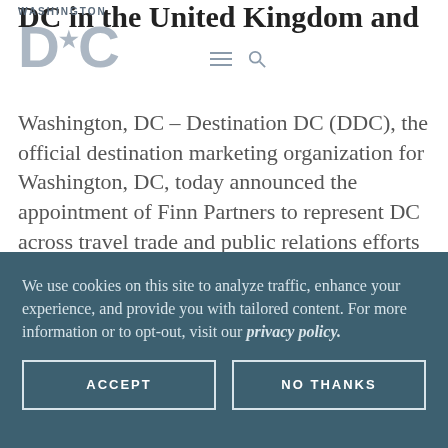[Figure (logo): Washington DC star logo with WASHINGTON text above and DC in large grey letters]
DC in the United Kingdom and
Washington, DC – Destination DC (DDC), the official destination marketing organization for Washington, DC, today announced the appointment of Finn Partners to represent DC across travel trade and public relations efforts in the United Kingdom and Ireland. As DDC focuses on
We use cookies on this site to analyze traffic, enhance your experience, and provide you with tailored content. For more information or to opt-out, visit our privacy policy.
ACCEPT
NO THANKS